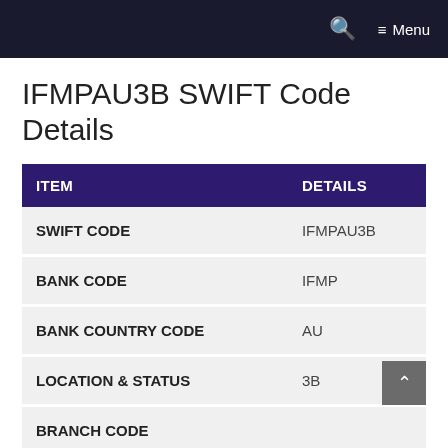Menu
IFMPAU3B SWIFT Code Details
| ITEM | DETAILS |
| --- | --- |
| SWIFT CODE | IFMPAU3B |
| BANK CODE | IFMP |
| BANK COUNTRY CODE | AU |
| LOCATION & STATUS | 3B |
| BRANCH CODE |  |